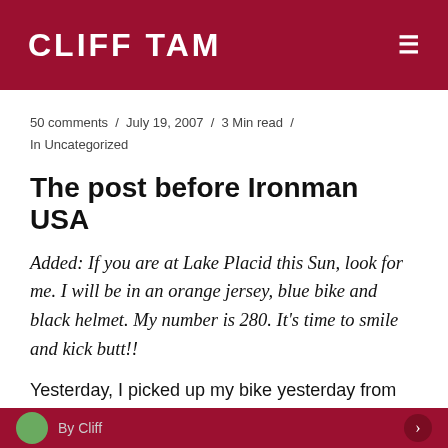CLIFF TAM
50 comments / July 19, 2007 / 3 Min read / In Uncategorized
The post before Ironman USA
Added: If you are at Lake Placid this Sun, look for me. I will be in an orange jersey, blue bike and black helmet. My number is 280. It's time to smile and kick butt!!
Yesterday, I picked up my bike yesterday from my local bike store. They fixed my gears
By Cliff